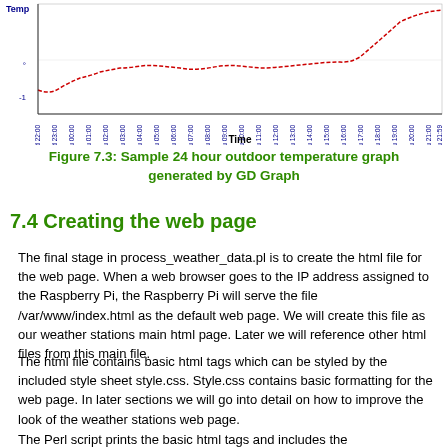[Figure (continuous-plot): Sample 24 hour outdoor temperature graph. Line chart showing temperature (y-axis) vs Time (x-axis, labeled with timestamps from Wed 22:00 through Thu 21:59). A red dashed line traces outdoor temperature over 24 hours, with a curved pattern showing overnight low and daytime rise. Blue x-axis labels rotated at angle. Y-axis label 'Temp' visible at top left.]
Figure 7.3: Sample 24 hour outdoor temperature graph generated by GD Graph
7.4 Creating the web page
The final stage in process_weather_data.pl is to create the html file for the web page. When a web browser goes to the IP address assigned to the Raspberry Pi, the Raspberry Pi will serve the file /var/www/index.html as the default web page. We will create this file as our weather stations main html page. Later we will reference other html files from this main file.
The html file contains basic html tags which can be styled by the included style sheet style.css. Style.css contains basic formatting for the web page. In later sections we will go into detail on how to improve the look of the weather stations web page.
The Perl script prints the basic html tags and includes the